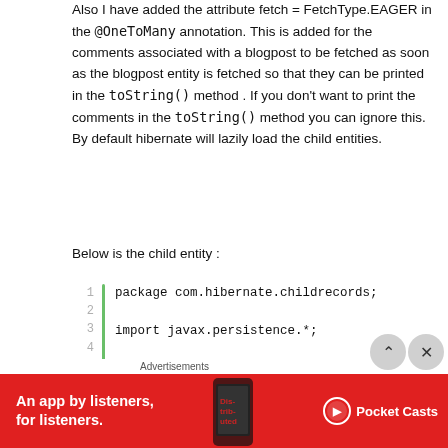Also I have added the attribute fetch = FetchType.EAGER in the @OneToMany annotation. This is added for the comments associated with a blogpost to be fetched as soon as the blogpost entity is fetched so that they can be printed in the toString() method . If you don't want to print the comments in the toString() method you can ignore this. By default hibernate will lazily load the child entities.
Below is the child entity :
[Figure (screenshot): Code block showing Java code with line numbers 1-7 and a green vertical bar. Lines: 1: package com.hibernate.childrecords; 2: (blank) 3: import javax.persistence.*; 4: (blank) 5: @Entity 6: public class Comment {]
[Figure (other): Advertisement banner: red background with 'An app by listeners, for listeners.' text and Pocket Casts logo]